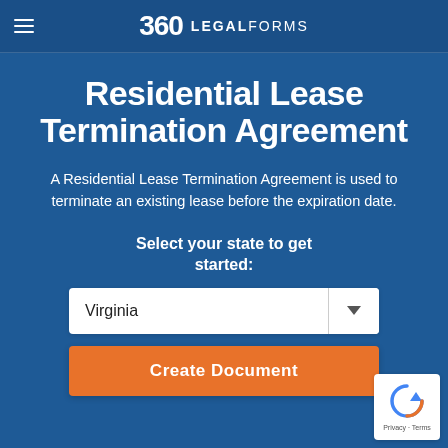360 LEGALFORMS
Residential Lease Termination Agreement
A Residential Lease Termination Agreement is used to terminate an existing lease before the expiration date.
Select your state to get started:
Virginia
Create Document
[Figure (logo): reCAPTCHA badge with arrow icon and Privacy · Terms text]